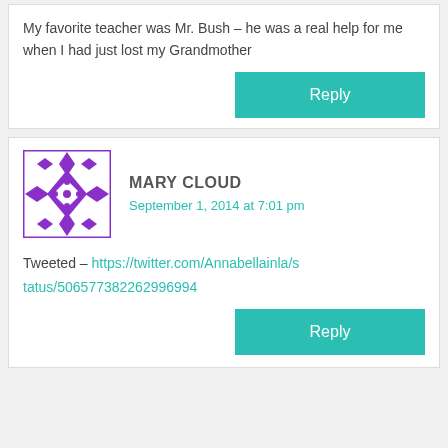My favorite teacher was Mr. Bush – he was a real help for me when I had just lost my Grandmother
Reply
MARY CLOUD
September 1, 2014 at 7:01 pm
Tweeted – https://twitter.com/Annabellainla/status/506577382262996994
Reply